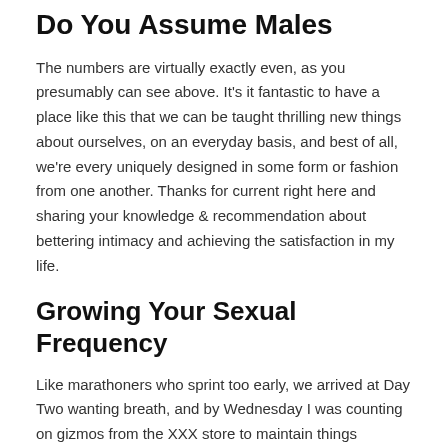Do You Assume Males
The numbers are virtually exactly even, as you presumably can see above. It’s it fantastic to have a place like this that we can be taught thrilling new things about ourselves, on an everyday basis, and best of all, we’re every uniquely designed in some form or fashion from one another. Thanks for current right here and sharing your knowledge & recommendation about bettering intimacy and achieving the satisfaction in my life.
Growing Your Sexual Frequency
Like marathoners who sprint too early, we arrived at Day Two wanting breath, and by Wednesday I was counting on gizmos from the XXX store to maintain things fascinating. The streak ended on Worst Sex Thursday, after we gave up in the course of the act to get some sleep. I guess I ought to have felt badly for putting her by way of the exhaustion and bodily toil of getting